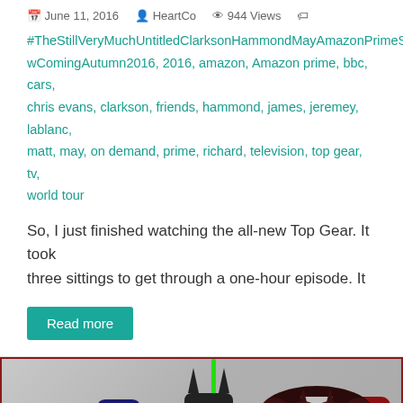June 11, 2016  HeartCo  944 Views
#TheStillVeryMuchUntitledClarksonHammondMayAmazonPrimeShowComingAutumn2016, 2016, amazon, Amazon prime, bbc, cars, chris evans, clarkson, friends, hammond, james, jeremey, lablanc, matt, may, on demand, prime, richard, television, top gear, tv, world tour
So, I just finished watching the all-new Top Gear. It took three sittings to get through a one-hour episode. It
Read more
[Figure (photo): LEGO minifigures of Superman, Batman (with green lightsaber), and Iron Man posed behind a brick wall, with Batman v Superman logo and Captain America Civil War logo overlaid on the right side]